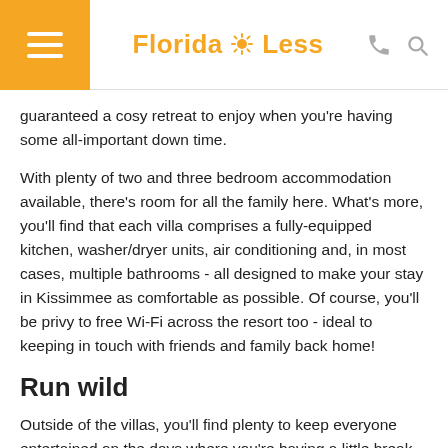Florida 4 Less
guaranteed a cosy retreat to enjoy when you're having some all-important down time.
With plenty of two and three bedroom accommodation available, there's room for all the family here. What's more, you'll find that each villa comprises a fully-equipped kitchen, washer/dryer units, air conditioning and, in most cases, multiple bathrooms - all designed to make your stay in Kissimmee as comfortable as possible. Of course, you'll be privy to free Wi-Fi across the resort too - ideal to keeping in touch with friends and family back home!
Run wild
Outside of the villas, you'll find plenty to keep everyone entertained on the days where you're having a little break from the parks. Along with multiple swimming pools